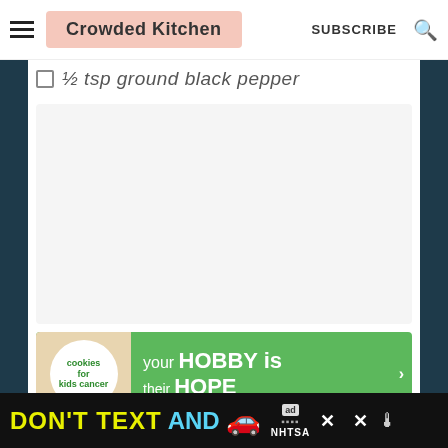Crowded Kitchen — SUBSCRIBE
½ tsp ground black pepper
[Figure (infographic): Advertisement banner for Cookies for Kids Cancer charity. Green background with circular white logo on left showing 'cookies for kids cancer' text and a person holding a heart-shaped cookie. Right side reads: 'your HOBBY is their HOPE']
DON'T TEXT AND [car icon] — ad | NHTSA